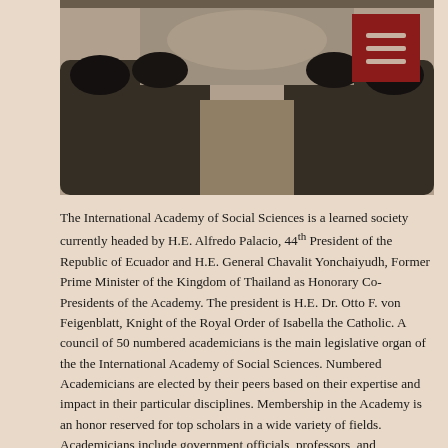[Figure (photo): Blurred photograph of people seated in a conference or meeting room, viewed from the back, with an aisle down the middle. A red menu icon overlay appears in the top right corner.]
The International Academy of Social Sciences is a learned society currently headed by H.E. Alfredo Palacio, 44th President of the Republic of Ecuador and H.E. General Chavalit Yonchaiyudh, Former Prime Minister of the Kingdom of Thailand as Honorary Co-Presidents of the Academy. The president is H.E. Dr. Otto F. von Feigenblatt, Knight of the Royal Order of Isabella the Catholic. A council of 50 numbered academicians is the main legislative organ of the the International Academy of Social Sciences. Numbered Academicians are elected by their peers based on their expertise and impact in their particular disciplines. Membership in the Academy is an honor reserved for top scholars in a wide variety of fields. Academicians include government officials, professors, and intellectuals. The Academy organizes seminars, conferences, and other activities in more than twenty countries.
The IASS publishes two peer-reviewed academic journals: the Journal of Alternative Perspectives in the Social Sciences and the Journal of Asia Pacific Studies. JAPSS was established in 2008 by a group of scholars from around the world with the purpose of promoting interdisciplinary research. The original group of